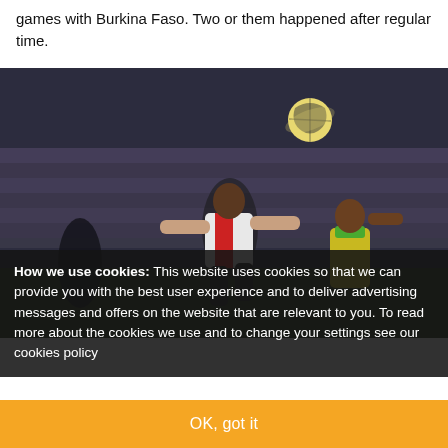games with Burkina Faso. Two or them happened after regular time.
[Figure (photo): Football match action photo: players jumping for the ball at night in a packed stadium, one player in white/red kit, another in yellow/green kit]
How we use cookies: This website uses cookies so that we can provide you with the best user experience and to deliver advertising messages and offers on the website that are relevant to you. To read more about the cookies we use and to change your settings see our cookies policy
OK, got it